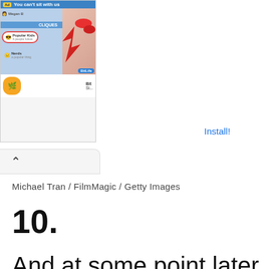[Figure (screenshot): Advertisement banner for BitLife app showing 'You can't sit with us' text with social media interface elements and red nail imagery]
Install!
[Figure (screenshot): Navigation bar with up caret chevron button]
Michael Tran / FilmMagic / Getty Images
10.
And at some point later in 2012, she showed up to an event with this curly,